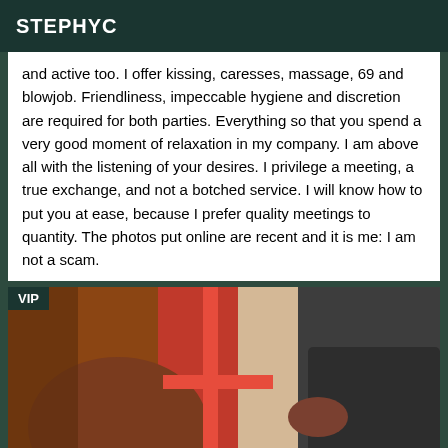STEPHYC
and active too. I offer kissing, caresses, massage, 69 and blowjob. Friendliness, impeccable hygiene and discretion are required for both parties. Everything so that you spend a very good moment of relaxation in my company. I am above all with the listening of your desires. I privilege a meeting, a true exchange, and not a botched service. I will know how to put you at ease, because I prefer quality meetings to quantity. The photos put online are recent and it is me: I am not a scam.
[Figure (photo): A person wearing a dark outfit posed against a red and beige background, with a VIP badge overlay in the top-left corner.]